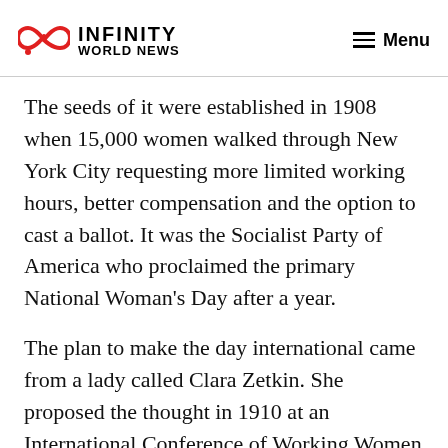INFINITY WORLD NEWS — Menu
The seeds of it were established in 1908 when 15,000 women walked through New York City requesting more limited working hours, better compensation and the option to cast a ballot. It was the Socialist Party of America who proclaimed the primary National Woman's Day after a year.
The plan to make the day international came from a lady called Clara Zetkin. She proposed the thought in 1910 at an International Conference of Working Women in Copenhagen. There were 100 women from that place in 17